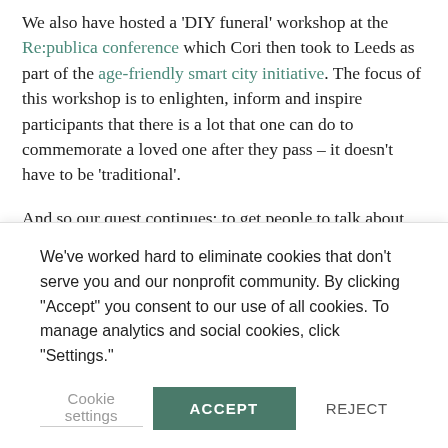We also have hosted a 'DIY funeral' workshop at the Re:publica conference which Cori then took to Leeds as part of the age-friendly smart city initiative. The focus of this workshop is to enlighten, inform and inspire participants that there is a lot that one can do to commemorate a loved one after they pass – it doesn't have to be 'traditional'.
And so our quest continues: to get people to talk about death, but not only about death: about the joys that
We've worked hard to eliminate cookies that don't serve you and our nonprofit community. By clicking "Accept" you consent to our use of all cookies. To manage analytics and social cookies, click "Settings."